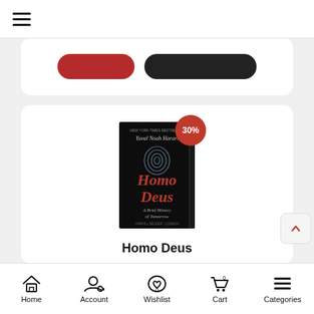[Figure (screenshot): Mobile app screenshot showing a book listing page for 'Homo Deus' by Yuval Noah Harari. Shows hamburger menu at top, partial card with red and black buttons, main book card with cover image showing 30% discount badge, book title, author, publisher, and partial price, with bottom navigation bar containing Home, Account, Wishlist, Cart, and Categories icons.]
Homo Deus
By: Yuval Noah Harari
Publisher: Vintage Publishing
Rs 599